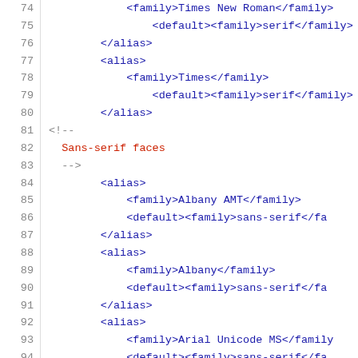[Figure (screenshot): Source code viewer showing XML/fontconfig configuration file lines 74-95. Line numbers in gray on left, XML tags in dark blue, comment text in dark red.]